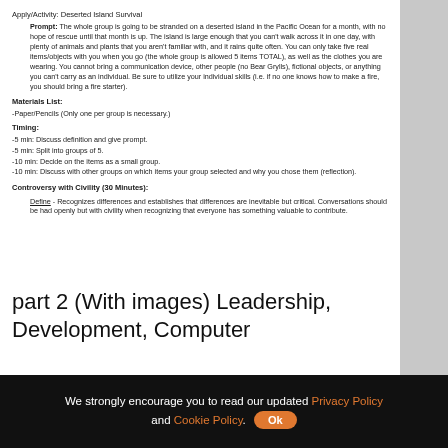Apply/Activity: Deserted Island Survival
Prompt: The whole group is going to be stranded on a deserted island in the Pacific Ocean for a month, with no hope of rescue until that month is up. The island is large enough that you can't walk across it in one day, with plenty of animals and plants that you aren't familiar with, and it rains quite often. You can only take five real items/objects with you when you go (the whole group is allowed 5 items TOTAL), as well as the clothes you are wearing. You cannot bring a communication device, other people (no Bear Grylls), fictional objects, or anything you can't carry as an individual. Be sure to utilize your individual skills (i.e. if no one knows how to make a fire, you should bring a fire starter).
Materials List:
-Paper/Pencils (Only one per group is necessary.)
Timing:
-5 min: Discuss definition and give prompt.
-5 min: Split into groups of 5.
-10 min: Decide on the items as a small group.
-10 min: Discuss with other groups on which items your group selected and why you chose them (reflection).
Controversy with Civility (30 Minutes):
Define - Recognizes differences and establishes that differences are inevitable but critical. Conversations should be had openly but with civility when recognizing that everyone has something valuable to contribute.
part 2 (With images) Leadership, Development, Computer
We strongly encourage you to read our updated Privacy Policy and Cookie Policy. Ok